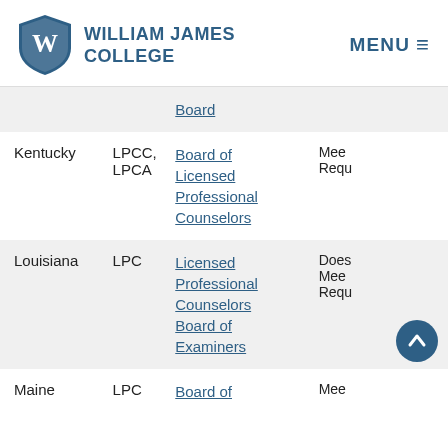William James College — MENU
| State | License | Board | Status |
| --- | --- | --- | --- |
|  |  | Board |  |
| Kentucky | LPCC, LPCA | Board of Licensed Professional Counselors | Meets Requirements |
| Louisiana | LPC | Licensed Professional Counselors Board of Examiners | Does Not Meet Requirements |
| Maine | LPC | Board of | Meet... |